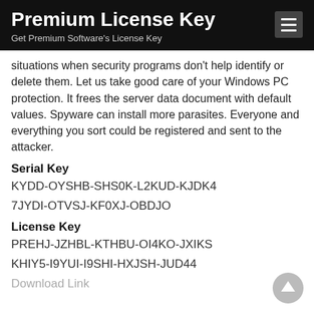Premium License Key
Get Premium Software's License Key
situations when security programs don't help identify or delete them. Let us take good care of your Windows PC protection. It frees the server data document with default values. Spyware can install more parasites. Everyone and everything you sort could be registered and sent to the attacker.
Serial Key
KYDD-OYSHB-SHS0K-L2KUD-KJDK4
7JYDI-OTVSJ-KF0XJ-OBDJO
License Key
PREHJ-JZHBL-KTHBU-OI4KO-JXIKS
KHIY5-I9YUI-I9SHI-HXJSH-JUD44
Download Link